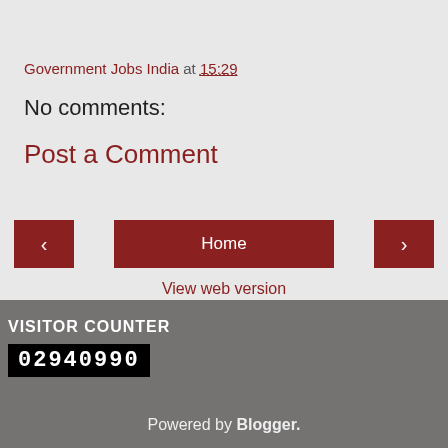Government Jobs India at 15:29
No comments:
Post a Comment
< Home >
View web version
VISITOR COUNTER
02940990
Powered by Blogger.